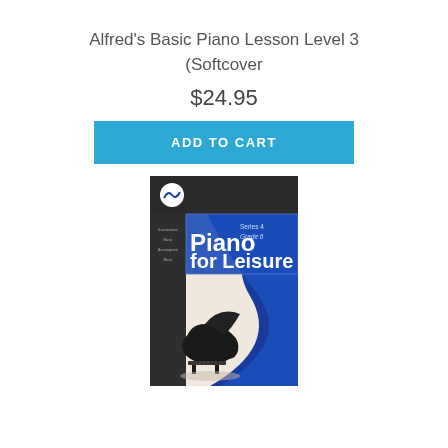Alfred's Basic Piano Lesson Level 3 (Softcover
$24.95
ADD TO CART
[Figure (illustration): Book cover for 'Piano for Leisure Series 4 Grade 6' — AMEB publication. Cover shows a dark blue background with a wave-shaped cream/beige area containing a silhouette of a grand piano. The top section has the AMEB logo on the left, 'Series 4 Grade 6' text on the right, and large white text reading 'Piano for Leisure'.]